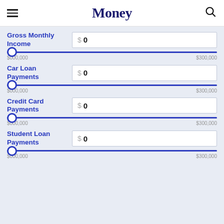Money
Gross Monthly Income $ 0
$000,000 $300,000
Car Loan Payments $ 0
$000,000 $300,000
Credit Card Payments $ 0
$000,000 $300,000
Student Loan Payments $ 0
$000,000 $300,000